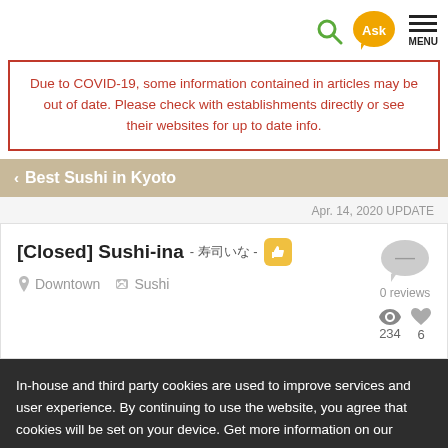Search | Ask | MENU
Due to COVID-19, some information contained in articles may be out of date. Please check with establishments directly or see their websites for up to date info.
< Best Sushi in Kyoto
Apr. 14, 2020 UPDATE
[Closed] Sushi-ina - 寿司いな -
Downtown  Sushi  0 reviews  234  6
In-house and third party cookies are used to improve services and user experience. By continuing to use the website, you agree that cookies will be set on your device. Get more information on our cookie policy here.
Accept